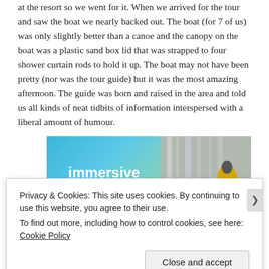at the resort so we went for it. When we arrived for the tour and saw the boat we nearly backed out. The boat (for 7 of us) was only slightly better than a canoe and the canopy on the boat was a plastic sand box lid that was strapped to four shower curtain rods to hold it up. The boat may not have been pretty (nor was the tour guide) but it was the most amazing afternoon. The guide was born and raised in the area and told us all kinds of neat tidbits of information interspersed with a liberal amount of humour.
[Figure (illustration): Advertisement banner with blue-green gradient background on the left showing bold white text 'immersive stories.' and on the right a photo of a person in a yellow jacket near a waterfall.]
Privacy & Cookies: This site uses cookies. By continuing to use this website, you agree to their use.
To find out more, including how to control cookies, see here: Cookie Policy
Close and accept